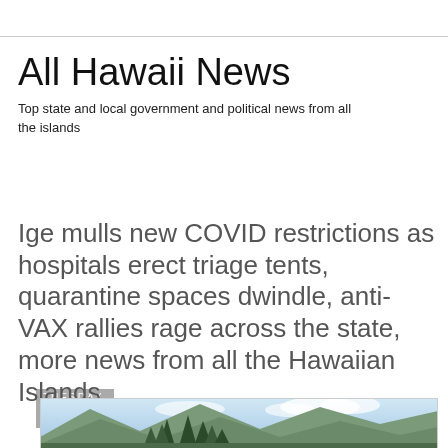All Hawaii News
Top state and local government and political news from all the islands
Tuesday, August 10, 2021
Ige mulls new COVID restrictions as hospitals erect triage tents, quarantine spaces dwindle, anti-VAX rallies rage across the state, more news from all the Hawaiian Islands
[Figure (photo): Landscape photo of mountains and trees in Hawaii with cloudy sky]